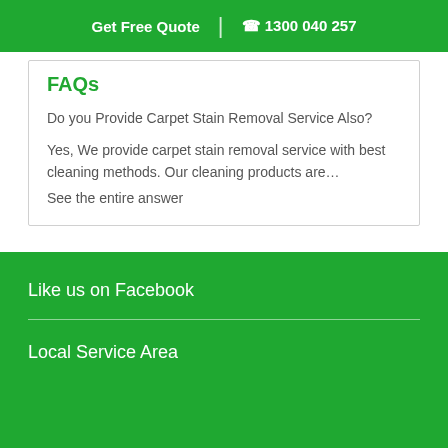Get Free Quote | ☎ 1300 040 257
FAQs
Do you Provide Carpet Stain Removal Service Also?
Yes, We provide carpet stain removal service with best cleaning methods. Our cleaning products are…
See the entire answer
Like us on Facebook
Local Service Area